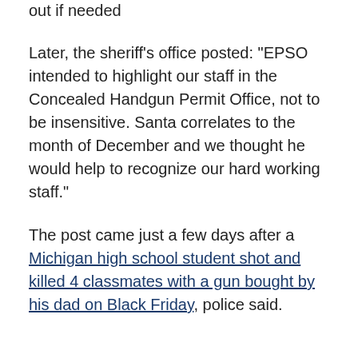out if needed
Later, the sheriff's office posted: "EPSO intended to highlight our staff in the Concealed Handgun Permit Office, not to be insensitive. Santa correlates to the month of December and we thought he would help to recognize our hard working staff."
The post came just a few days after a Michigan high school student shot and killed 4 classmates with a gun bought by his dad on Black Friday, police said.